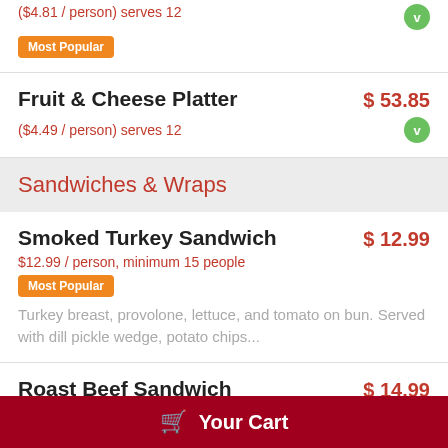($4.81 / person) serves 12
Most Popular
Fruit & Cheese Platter  $53.85
($4.49 / person) serves 12
Sandwiches & Wraps
Smoked Turkey Sandwich  $12.99
$12.99 / person, minimum 15 people
Most Popular
Turkey breast, provolone, lettuce, and tomato on bun. Served with dill pickle wedge, potato chips...
Roast Beef Sandwich  $14.99
$14.99 / person, minimum 15 people
Sliced roast beef, cheddar cheese, lettuce, and tomato on sourdough. Served with dill pickle...
Your Cart